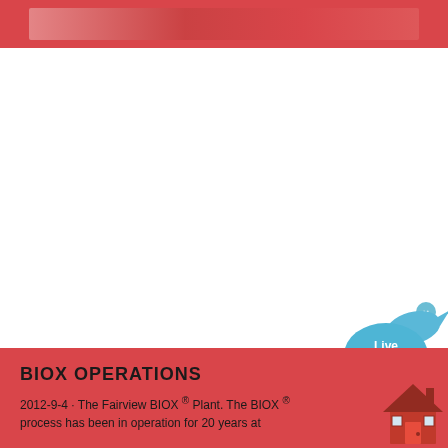[Figure (screenshot): Top red banner with a faded/blurred image strip inside a red background area]
[Figure (screenshot): Live Chat widget - blue speech bubble with 'Live Chat' text and a small fish/bird icon, with an X close button]
BIOX OPERATIONS
2012-9-4 · The Fairview BIOX ® Plant. The BIOX ® process has been in operation for 20 years at